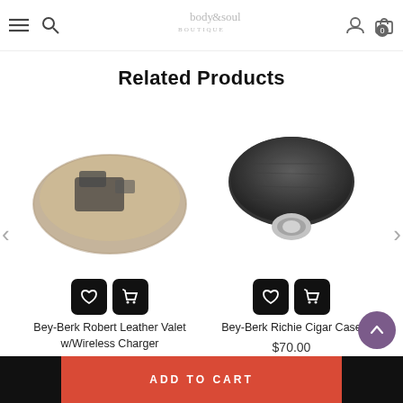body & soul boutique — navigation header
Related Products
[Figure (photo): Bey-Berk Robert Leather Valet w/Wireless Charger product photo — brown leather tray with phone and accessories]
Bey-Berk Robert Leather Valet w/Wireless Charger
[Figure (photo): Bey-Berk Richie Cigar Case product photo — black leather cigar case with metal clasp]
Bey-Berk Richie Cigar Case
$70.00
ADD TO CART